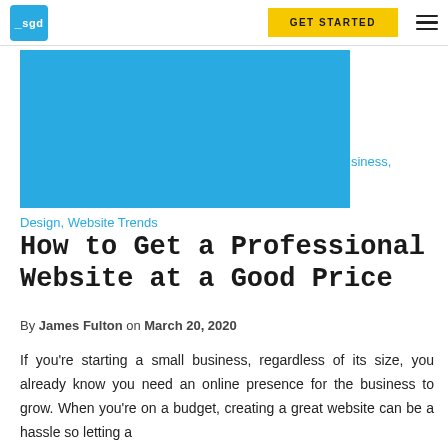SGD logo | GET STARTED button | hamburger menu
[Figure (photo): Large blue rectangular hero image placeholder (solid #29abe2 / sky blue color block)]
Business,
Design, Website Trends
How to Get a Professional Website at a Good Price
By James Fulton on March 20, 2020
If you're starting a small business, regardless of its size, you already know you need an online presence for the business to grow. When you're on a budget, creating a great website can be a hassle so letting a